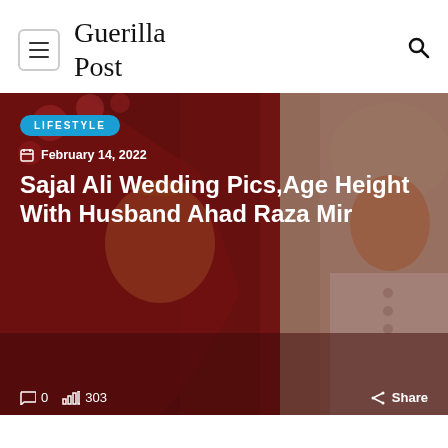Guerilla Post
[Figure (photo): Wedding photo of Sajal Ali and Ahad Raza Mir. Bride in red bridal attire with gold jewelry and dupatta, groom in cream/beige sherwani with turban, looking at each other.]
Sajal Ali Wedding Pics,Age Height With Husband Ahad Raza Mir
February 14, 2022
LIFESTYLE
0  303  Share